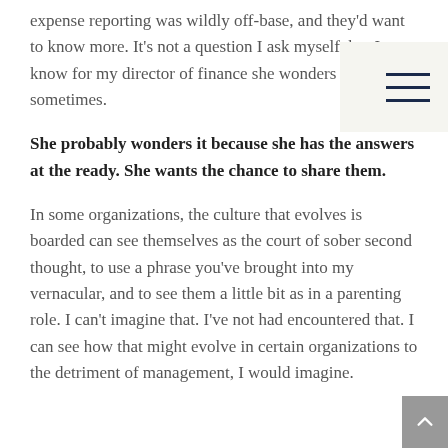expense reporting was wildly off-base, and they'd want to know more. It's not a question I ask myself, but I know for my director of finance she wonders that sometimes.
She probably wonders it because she has the answers at the ready. She wants the chance to share them.
In some organizations, the culture that evolves is boarded can see themselves as the court of sober second thought, to use a phrase you've brought into my vernacular, and to see them a little bit as in a parenting role. I can't imagine that. I've not had encountered that. I can see how that might evolve in certain organizations to the detriment of management, I would imagine.